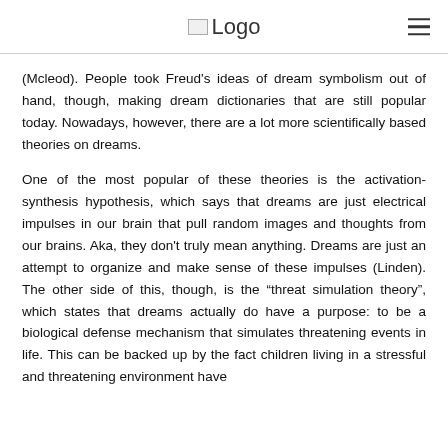Logo
(Mcleod). People took Freud's ideas of dream symbolism out of hand, though, making dream dictionaries that are still popular today. Nowadays, however, there are a lot more scientifically based theories on dreams.
One of the most popular of these theories is the activation-synthesis hypothesis, which says that dreams are just electrical impulses in our brain that pull random images and thoughts from our brains. Aka, they don't truly mean anything. Dreams are just an attempt to organize and make sense of these impulses (Linden). The other side of this, though, is the “threat simulation theory”, which states that dreams actually do have a purpose: to be a biological defense mechanism that simulates threatening events in life. This can be backed up by the fact children living in a stressful and threatening environment have